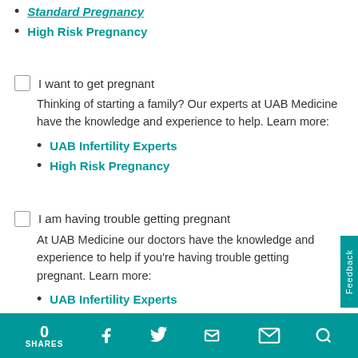Standard Pregnancy (partially visible at top)
High Risk Pregnancy
I want to get pregnant
Thinking of starting a family? Our experts at UAB Medicine have the knowledge and experience to help. Learn more:
UAB Infertility Experts
High Risk Pregnancy
I am having trouble getting pregnant
At UAB Medicine our doctors have the knowledge and experience to help if you're having trouble getting pregnant. Learn more:
UAB Infertility Experts
High Risk Pregnancy
0 SHARES  Facebook  Twitter  LinkedIn  Email  Search  Feedback